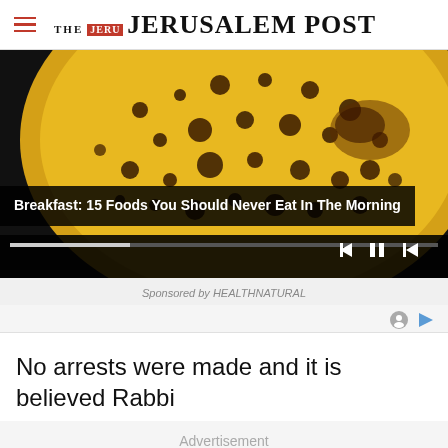THE JERUSALEM POST
[Figure (screenshot): Video player showing a close-up of a spotted yellow and black surface (possibly a food item like a banana or fruit), with media controls (skip back, pause, skip forward) and a progress bar at the bottom.]
Breakfast: 15 Foods You Should Never Eat In The Morning
Sponsored by HEALTHNATURAL
No arrests were made and it is believed Rabbi
Advertisement